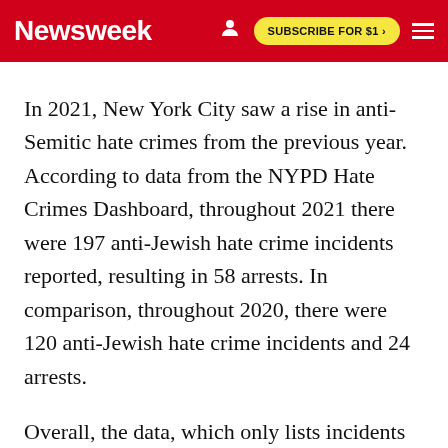Newsweek | SUBSCRIBE FOR $1 >
In 2021, New York City saw a rise in anti-Semitic hate crimes from the previous year. According to data from the NYPD Hate Crimes Dashboard, throughout 2021 there were 197 anti-Jewish hate crime incidents reported, resulting in 58 arrests. In comparison, throughout 2020, there were 120 anti-Jewish hate crime incidents and 24 arrests.
Overall, the data, which only lists incidents up